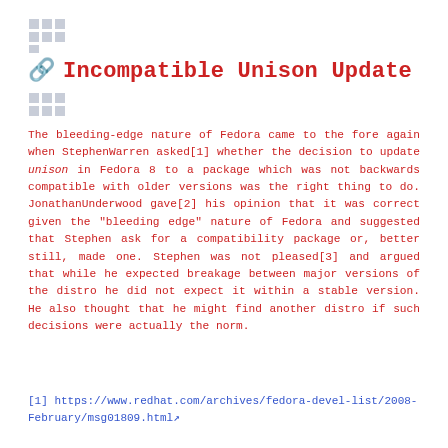[Figure (other): Small grid/table icon placeholder at top left]
🔗 Incompatible Unison Update
[Figure (other): Small grid/table icon placeholder below title]
The bleeding-edge nature of Fedora came to the fore again when StephenWarren asked[1] whether the decision to update unison in Fedora 8 to a package which was not backwards compatible with older versions was the right thing to do. JonathanUnderwood gave[2] his opinion that it was correct given the "bleeding edge" nature of Fedora and suggested that Stephen ask for a compatibility package or, better still, made one. Stephen was not pleased[3] and argued that while he expected breakage between major versions of the distro he did not expect it within a stable version. He also thought that he might find another distro if such decisions were actually the norm.
[1] https://www.redhat.com/archives/fedora-devel-list/2008-February/msg01809.html